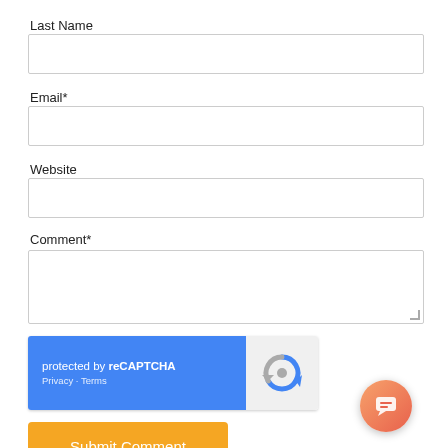Last Name
[Figure (screenshot): Empty text input field for Last Name]
Email*
[Figure (screenshot): Empty text input field for Email]
Website
[Figure (screenshot): Empty text input field for Website]
Comment*
[Figure (screenshot): Empty textarea for Comment]
[Figure (screenshot): reCAPTCHA widget showing 'protected by reCAPTCHA' with Privacy and Terms links and reCAPTCHA logo]
[Figure (screenshot): Submit Comment button (orange/amber color)]
[Figure (screenshot): Chat bubble icon in bottom right corner]